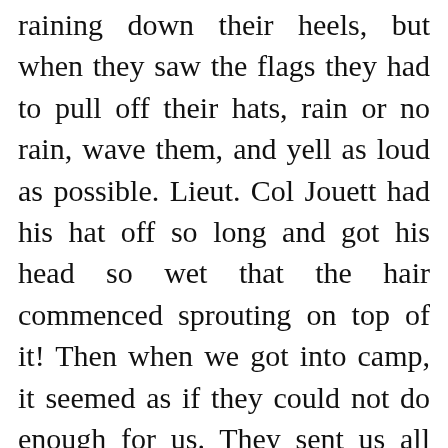raining down their heels, but when they saw the flags they had to pull off their hats, rain or no rain, wave them, and yell as loud as possible. Lieut. Col Jouett had his hat off so long and got his head so wet that the hair commenced sprouting on top of it! Then when we got into camp, it seemed as if they could not do enough for us. They sent us all sorts of things."
Nashville Daily Union, April 13, 1862. [1]